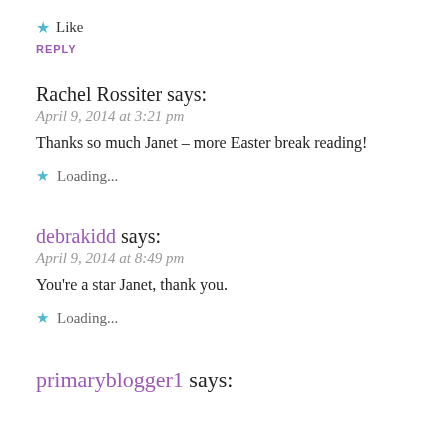Like
REPLY
Rachel Rossiter says:
April 9, 2014 at 3:21 pm
Thanks so much Janet – more Easter break reading!
Loading...
debrakidd says:
April 9, 2014 at 8:49 pm
You're a star Janet, thank you.
Loading...
primaryblogger1 says: